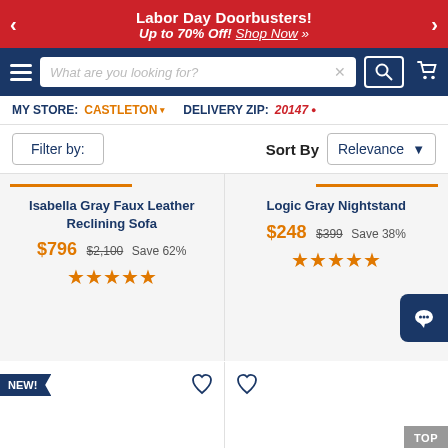Labor Day Doorbusters! Up to 70% Off! Shop Now »
[Figure (screenshot): Website navigation bar with hamburger menu, search box, and cart icon on dark blue background]
MY STORE: CASTLETON ▾  DELIVERY ZIP: 20147 ▾
Filter by:  Sort By  Relevance ▾
Isabella Gray Faux Leather Reclining Sofa  $796  $2,100  Save 62%  ★★★★★
Logic Gray Nightstand  $248  $399  Save 38%  ★★★★★
NEW!